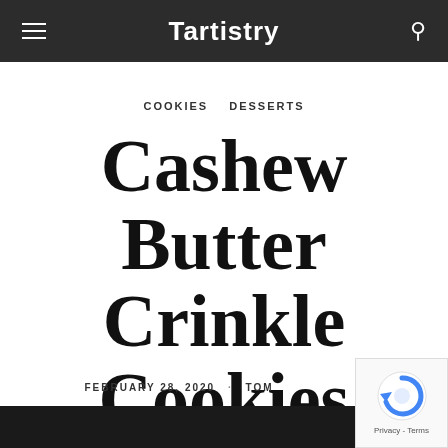Tartistry
COOKIES   DESSERTS
Cashew Butter Crinkle Cookies
FEBRUARY 28, 2020 · TOM
[Figure (photo): Dark bottom strip image, partial cookie photo]